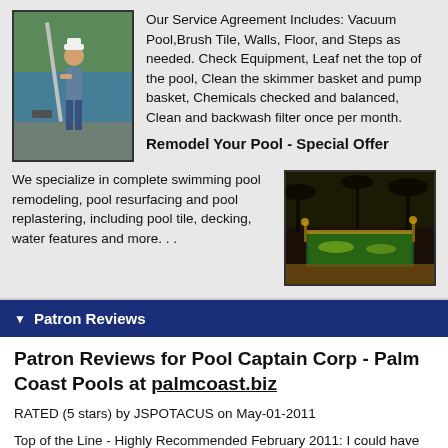Our Service Agreement Includes: Vacuum Pool,Brush Tile, Walls, Floor, and Steps as needed. Check Equipment, Leaf net the top of the pool, Clean the skimmer basket and pump basket, Chemicals checked and balanced, Clean and backwash filter once per month.
Remodel Your Pool - Special Offer
We specialize in complete swimming pool remodeling, pool resurfacing and pool replastering, including pool tile, decking, water features and more. . .
[Figure (photo): Man cleaning a swimming pool with a pole brush, standing on pool deck with blue water visible]
[Figure (photo): Swimming pool at night with golden lighting, palm trees in background]
Patron Reviews
Patron Reviews for Pool Captain Corp - Palm Coast Pools at palmcoast.biz
RATED (5 stars) by JSPOTACUS on May-01-2011
Top of the Line - Highly Recommended February 2011: I could have given 4 stars to Pool Captains avoiding the tendency to vote to extremes, however, extremes are needed when speaking of this business and their service to us. They had a difficult job to do, working with 2 other contractors, and performed